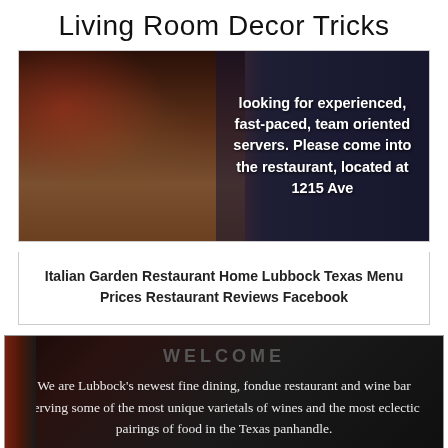Living Room Decor Tricks
[Figure (photo): Interior of Italian restaurant with dark ambiance, pendant lights, wood furniture; text overlay reads: looking for experienced, fast-paced, team oriented servers. Please come into the restaurant, located at 1215 Ave]
Italian Garden Restaurant Home Lubbock Texas Menu Prices Restaurant Reviews Facebook
[Figure (screenshot): Dark welcome screen with text: WELCOME. We are Lubbock's newest fine dining, fondue restaurant and wine bar serving some of the most unique varietals of wines and the most eclectic pairings of food in the Texas panhandle. 10 minutes from Tex [CLOSE button] & The Overton ~ 7]